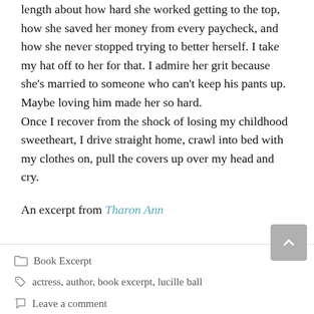length about how hard she worked getting to the top, how she saved her money from every paycheck, and how she never stopped trying to better herself. I take my hat off to her for that. I admire her grit because she's married to someone who can't keep his pants up. Maybe loving him made her so hard.
Once I recover from the shock of losing my childhood sweetheart, I drive straight home, crawl into bed with my clothes on, pull the covers up over my head and cry.
An excerpt from Tharon Ann
Book Excerpt
actress, author, book excerpt, lucille ball
Leave a comment